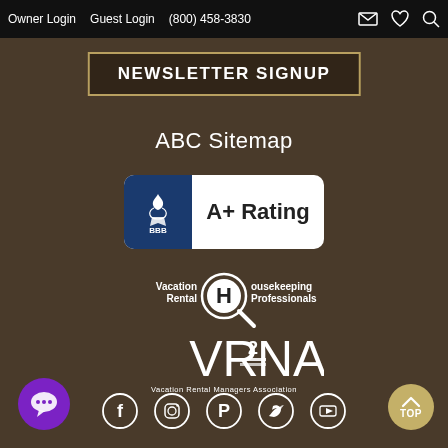Owner Login   Guest Login   (800) 458-3830
NEWSLETTER SIGNUP
ABC Sitemap
[Figure (logo): Better Business Bureau BBB A+ Rating logo badge with white background and blue left panel]
[Figure (logo): Vacation Rental Housekeeping Professionals logo with magnifying glass]
[Figure (logo): VRMA Vacation Rental Managers Association logo in white]
[Figure (other): Social media icons row: Facebook, Instagram, Pinterest, Twitter, YouTube — all as circle outline icons]
[Figure (other): Purple chat bubble button in bottom left corner]
[Figure (other): Gold TOP scroll-to-top button in bottom right corner]